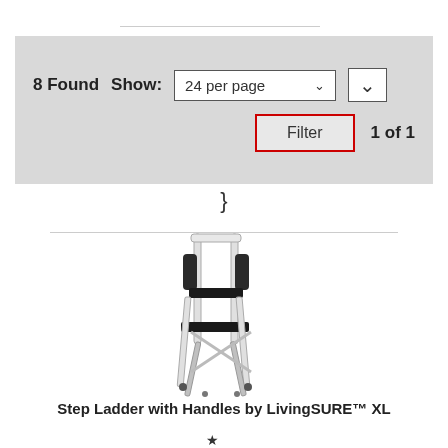8 Found   Show:  24 per page   1 of 1
Filter
}
[Figure (photo): Step ladder with handles — white metal frame, two black steps, black side handles/rail at top]
Step Ladder with Handles by LivingSURE™ XL